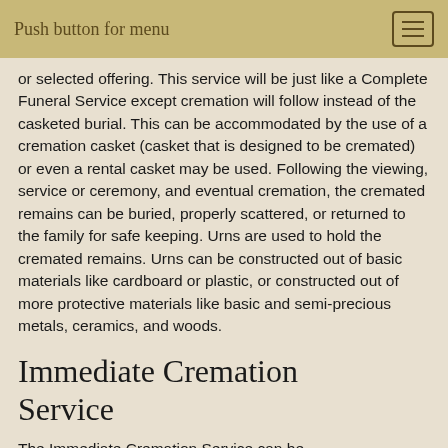Push button for menu
or selected offering. This service will be just like a Complete Funeral Service except cremation will follow instead of the casketed burial. This can be accommodated by the use of a cremation casket (casket that is designed to be cremated) or even a rental casket may be used. Following the viewing, service or ceremony, and eventual cremation, the cremated remains can be buried, properly scattered, or returned to the family for safe keeping. Urns are used to hold the cremated remains. Urns can be constructed out of basic materials like cardboard or plastic, or constructed out of more protective materials like basic and semi-precious metals, ceramics, and woods.
Immediate Cremation Service
The Immediate Cremation Service can be